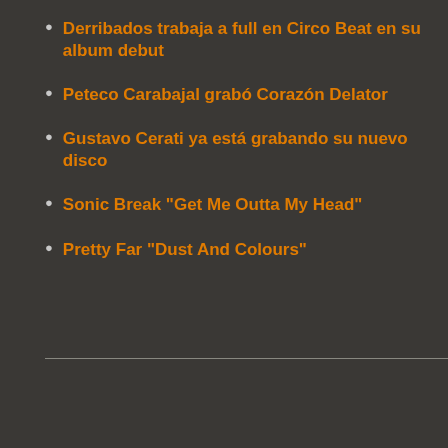Derribados trabaja a full en Circo Beat en su album debut
Peteco Carabajal grabó Corazón Delator
Gustavo Cerati ya está grabando su nuevo disco
Sonic Break "Get Me Outta My Head"
Pretty Far "Dust And Colours"